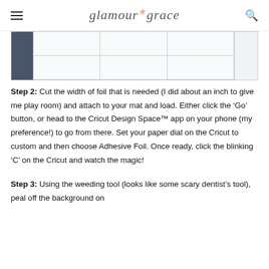glamour & grace
[Figure (screenshot): Screenshot of Cricut Design Space software showing a grid canvas with a dark sidebar panel on the left and controls on the right]
Step 2: Cut the width of foil that is needed (I did about an inch to give me play room) and attach to your mat and load. Either click the ‘Go’ button, or head to the Cricut Design Space™ app on your phone (my preference!) to go from there. Set your paper dial on the Cricut to custom and then choose Adhesive Foil. Once ready, click the blinking ‘C’ on the Cricut and watch the magic!
Step 3: Using the weeding tool (looks like some scary dentist’s tool), peal off the background on